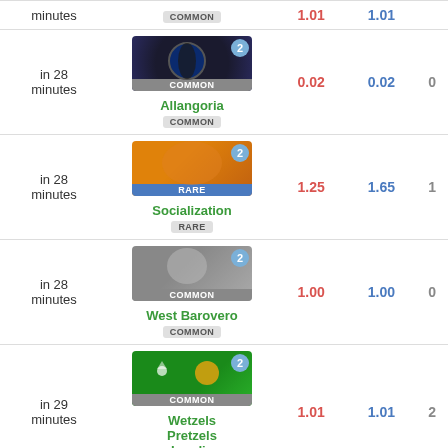| Time | Card | Val1 | Val2 | Val3 |
| --- | --- | --- | --- | --- |
| in 28 minutes | Allangoria COMMON | 0.02 | 0.02 | 0 |
| in 28 minutes | Socialization RARE | 1.25 | 1.65 | 1 |
| in 28 minutes | West Barovero COMMON | 1.00 | 1.00 | 0 |
| in 29 minutes | Wetzels Pretzels Landia COMMON | 1.01 | 1.01 | 2 |
| in 32 minutes | Carcharios COMMON | 1.01 | 1.01 | 2 |
| in 35 minutes | Stone Pale Ale UNCOMMON | 0.25 | 0.25 | 0 |